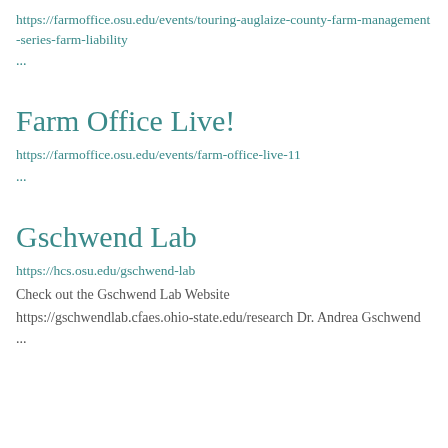https://farmoffice.osu.edu/events/touring-auglaize-county-farm-management-series-farm-liability
...
Farm Office Live!
https://farmoffice.osu.edu/events/farm-office-live-11
...
Gschwend Lab
https://hcs.osu.edu/gschwend-lab
Check out the Gschwend Lab Website
https://gschwendlab.cfaes.ohio-state.edu/research Dr. Andrea Gschwend ...